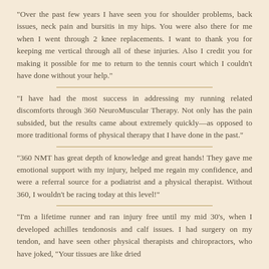“Over the past few years I have seen you for shoulder problems, back issues, neck pain and bursitis in my hips. You were also there for me when I went through 2 knee replacements. I want to thank you for keeping me vertical through all of these injuries. Also I credit you for making it possible for me to return to the tennis court which I couldn’t have done without your help.”
“I have had the most success in addressing my running related discomforts through 360 NeuroMuscular Therapy. Not only has the pain subsided, but the results came about extremely quickly—as opposed to more traditional forms of physical therapy that I have done in the past.”
“360 NMT has great depth of knowledge and great hands! They gave me emotional support with my injury, helped me regain my confidence, and were a referral source for a podiatrist and a physical therapist. Without 360, I wouldn’t be racing today at this level!”
“I’m a lifetime runner and ran injury free until my mid 30’s, when I developed achilles tendonosis and calf issues. I had surgery on my tendon, and have seen other physical therapists and chiropractors, who have joked, “Your tissues are like dried